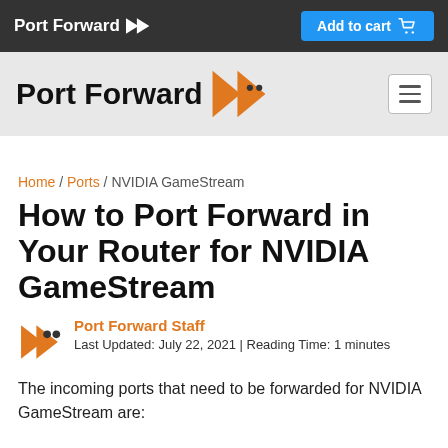Port Forward | Add to cart
[Figure (logo): Port Forward logo with orange arrow chevron icon and navigation bar]
Home / Ports / NVIDIA GameStream
How to Port Forward in Your Router for NVIDIA GameStream
Port Forward Staff
Last Updated: July 22, 2021 | Reading Time: 1 minutes
The incoming ports that need to be forwarded for NVIDIA GameStream are: